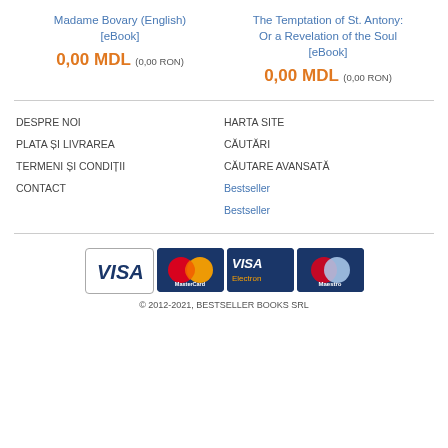Madame Bovary (English) [eBook]
0,00 MDL (0,00 RON)
The Temptation of St. Antony: Or a Revelation of the Soul [eBook]
0,00 MDL (0,00 RON)
DESPRE NOI
PLATA ȘI LIVRAREA
TERMENI ȘI CONDIȚII
CONTACT
HARTA SITE
CĂUTĂRI
CĂUTARE AVANSATĂ
Bestseller
Bestseller
[Figure (logo): Payment method logos: VISA, MasterCard, VISA Electron, Maestro]
© 2012-2021, BESTSELLER BOOKS SRL